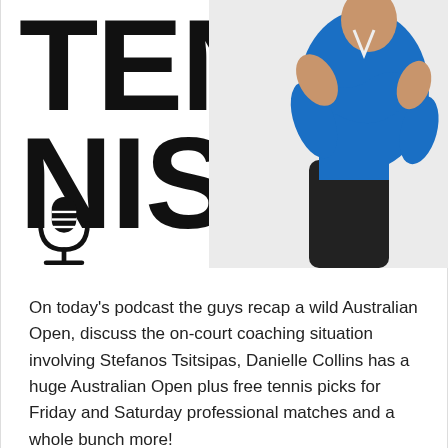[Figure (illustration): Podcast logo image showing large bold text 'TEN NIS' on the left with a microphone icon below, and a tennis player in a blue shirt on the right against a white background]
On today's podcast the guys recap a wild Australian Open, discuss the on-court coaching situation involving Stefanos Tsitsipas, Danielle Collins has a huge Australian Open plus free tennis picks for Friday and Saturday professional matches and a whole bunch more!